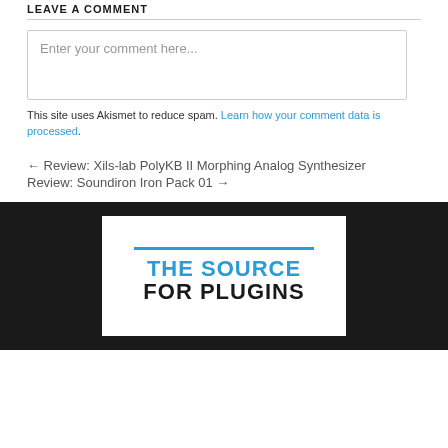LEAVE A COMMENT
Enter your comment here...
This site uses Akismet to reduce spam. Learn how your comment data is processed.
← Review: Xils-lab PolyKB II Morphing Analog Synthesizer
Review: Soundiron Iron Pack 01 →
[Figure (logo): The Source For Plugins logo with blue horizontal bar and text on white background, on dark footer]